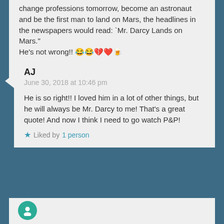change professions tomorrow, become an astronaut and be the first man to land on Mars, the headlines in the newspapers would read: `Mr. Darcy Lands on Mars." He's not wrong!! 😂😂💔❤️🍺
Liked by 1 person
AJ
June 30, 2018 at 10:46 pm
He is so right!! I loved him in a lot of other things, but he will always be Mr. Darcy to me! That's a great quote! And now I think I need to go watch P&P!
Liked by 1 person